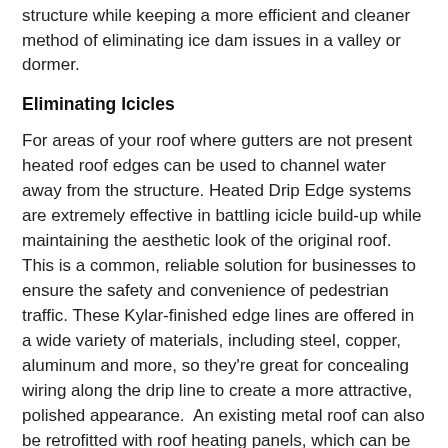structure while keeping a more efficient and cleaner method of eliminating ice dam issues in a valley or dormer.
Eliminating Icicles
For areas of your roof where gutters are not present heated roof edges can be used to channel water away from the structure. Heated Drip Edge systems are extremely effective in battling icicle build-up while maintaining the aesthetic look of the original roof. This is a common, reliable solution for businesses to ensure the safety and convenience of pedestrian traffic. These Kylar-finished edge lines are offered in a wide variety of materials, including steel, copper, aluminum and more, so they're great for concealing wiring along the drip line to create a more attractive, polished appearance.  An existing metal roof can also be retrofitted with roof heating panels, which can be laid on top of the old metal roof, in direct contact with the self-regulating heat cable to prevent icicle formation.